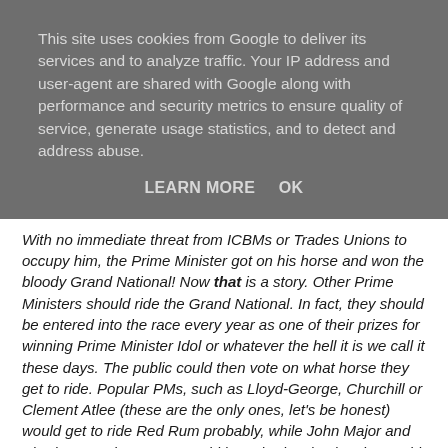This site uses cookies from Google to deliver its services and to analyze traffic. Your IP address and user-agent are shared with Google along with performance and security metrics to ensure quality of service, generate usage statistics, and to detect and address abuse.
LEARN MORE   OK
With no immediate threat from ICBMs or Trades Unions to occupy him, the Prime Minister got on his horse and won the bloody Grand National! Now that is a story. Other Prime Ministers should ride the Grand National. In fact, they should be entered into the race every year as one of their prizes for winning Prime Minister Idol or whatever the hell it is we call it these days. The public could then vote on what horse they get to ride. Popular PMs, such as Lloyd-George, Churchill or Clement Atlee (these are the only ones, let's be honest) would get to ride Red Rum probably, while John Major and Sir Alec Douglas Home would have had a skankmule. David Cameron could ride Gideon.
But, alas...